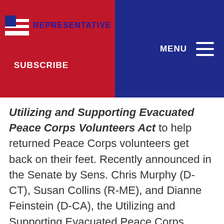REPRESENTATIVE | SUBSCRIBE | MENU
Utilizing and Supporting Evacuated Peace Corps Volunteers Act to help returned Peace Corps volunteers get back on their feet. Recently announced in the Senate by Sens. Chris Murphy (D-CT), Susan Collins (R-ME), and Dianne Feinstein (D-CA), the Utilizing and Supporting Evacuated Peace Corps Volunteers Act would support Peace Corps volunteers evacuated due to the coronavirus public health emergency by expanding health insurance coverage, creating an expedited reenrollment process, and developing additional domestic employment